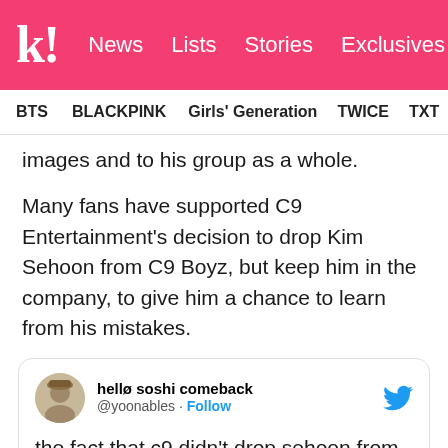k! News  Lists  Stories  Exclusives
BTS  BLACKPINK  Girls' Generation  TWICE  TXT  SEVE
images and to his group as a whole.
Many fans have supported C9 Entertainment's decision to drop Kim Sehoon from C9 Boyz, but keep him in the company, to give him a chance to learn from his mistakes.
[Figure (screenshot): Embedded tweet from @yoonables (hellø soshi comeback) stating: 'the fact that c9 didn't drop sehoon from the company and will still help him change and reflect on his behavior and also help him achieve his dreams, they're doing the right']